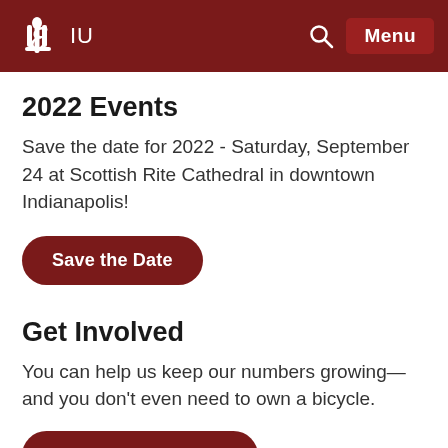IU  Menu
2022 Events
Save the date for 2022 - Saturday, September 24 at Scottish Rite Cathedral in downtown Indianapolis!
Save the Date
Get Involved
You can help us keep our numbers growing—and you don't even need to own a bicycle.
Join the M4M Team